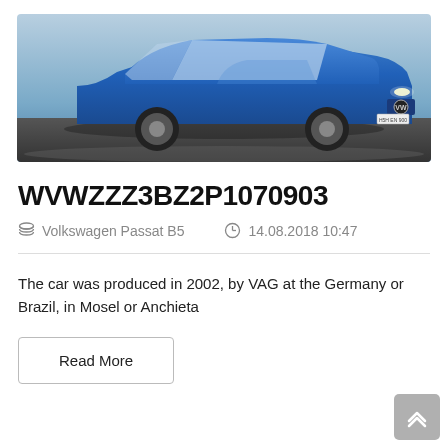[Figure (photo): Blue Volkswagen Passat B5 sedan photographed from a front-left angle on a dark surface with a light sky background.]
WVWZZZ3BZ2P1070903
Volkswagen Passat B5   14.08.2018 10:47
The car was produced in 2002, by VAG at the Germany or Brazil, in Mosel or Anchieta
Read More